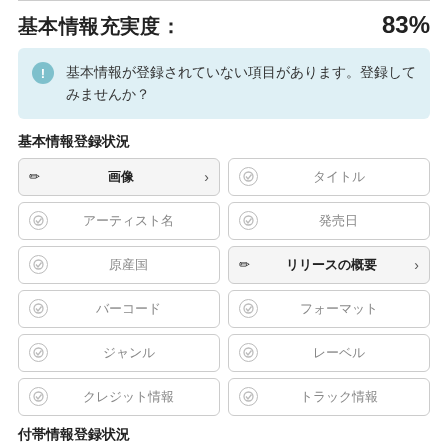基本情報充実度：83%
基本情報が登録されていない項目があります。登録してみませんか？
基本情報登録状況
| 画像 | タイトル |
| アーティスト名 | 発売日 |
| 原産国 | リリースの概要 |
| バーコード | フォーマット |
| ジャンル | レーベル |
| クレジット情報 | トラック情報 |
付帯情報登録状況